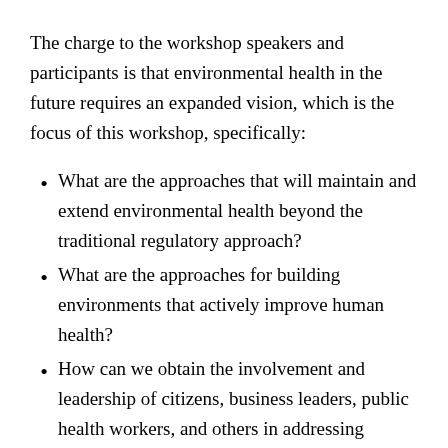The charge to the workshop speakers and participants is that environmental health in the future requires an expanded vision, which is the focus of this workshop, specifically:
What are the approaches that will maintain and extend environmental health beyond the traditional regulatory approach?
What are the approaches for building environments that actively improve human health?
How can we obtain the involvement and leadership of citizens, business leaders, public health workers, and others in addressing